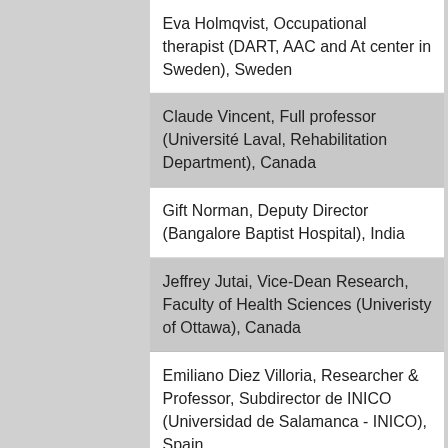Eva Holmqvist, Occupational therapist (DART, AAC and At center in Sweden), Sweden
Claude Vincent, Full professor (Université Laval, Rehabilitation Department), Canada
Gift Norman, Deputy Director (Bangalore Baptist Hospital), India
Jeffrey Jutai, Vice-Dean Research, Faculty of Health Sciences (Univeristy of Ottawa), Canada
Emiliano Diez Villoria, Researcher & Professor, Subdirector de INICO (Universidad de Salamanca - INICO), Spain
Andrea Bonarini, Full Professor (Politecnico di Milano), Italy
Jiro Sagara, Professor (Kobe Design University), Japan